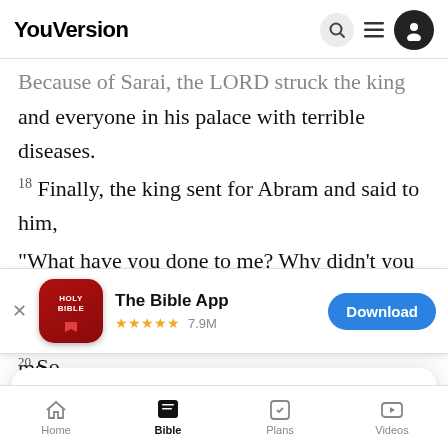YouVersion
Because of Sarai, the LORD struck the king and everyone in his palace with terrible diseases.
18 Finally, the king sent for Abram and said to him, “What have you done to me? Why didn't you tell me Sarai was your wife? 19 Why did you make me
[Figure (screenshot): App store banner for The Bible App with Holy Bible icon, 5 stars, 7.9M ratings, and Download button]
20 So
Sarai ta
YouVersion uses cookies to personalize your experience. By using our website, you accept our use of cookies as described in our Privacy Policy.
Home  Bible  Plans  Videos